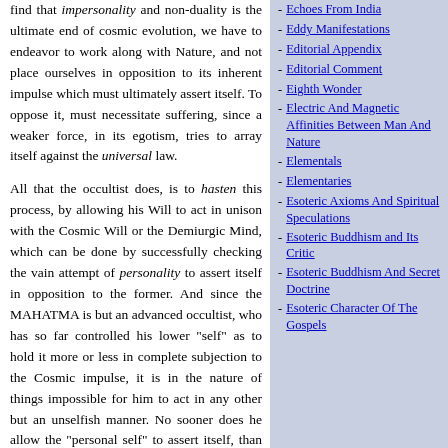find that impersonality and non-duality is the ultimate end of cosmic evolution, we have to endeavor to work along with Nature, and not place ourselves in opposition to its inherent impulse which must ultimately assert itself. To oppose it, must necessitate suffering, since a weaker force, in its egotism, tries to array itself against the universal law.
All that the occultist does, is to hasten this process, by allowing his Will to act in unison with the Cosmic Will or the Demiurgic Mind, which can be done by successfully checking the vain attempt of personality to assert itself in opposition to the former. And since the MAHATMA is but an advanced occultist, who has so far controlled his lower "self" as to hold it more or less in complete subjection to the Cosmic impulse, it is in the nature of things impossible for him to act in any other but an unselfish manner. No sooner does he allow the "personal self" to assert itself, than he ceases to be a MAHATMA. Those, therefore, who being
Echoes From India
Eddy Manifestations
Editorial Appendix
Editorial Comment
Eighth Wonder
Electric And Magnetic Affinities Between Man And Nature
Elementals
Elementaries
Esoteric Axioms And Spiritual Speculations
Esoteric Buddhism and Its Critic
Esoteric Buddhism And Secret Doctrine
Esoteric Character Of The Gospels